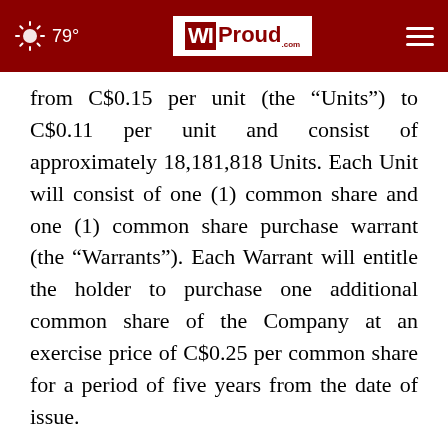79° WIProud.com
from C$0.15 per unit (the “Units”) to C$0.11 per unit and consist of approximately 18,181,818 Units. Each Unit will consist of one (1) common share and one (1) common share purchase warrant (the “Warrants”). Each Warrant will entitle the holder to purchase one additional common share of the Company at an exercise price of C$0.25 per common share for a period of five years from the date of issue.
All other terms and conditions of the Offering remain unchanged. The closing of the Offering is